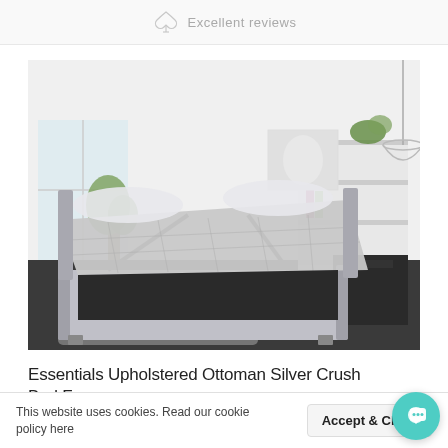Excellent reviews
[Figure (photo): An upholstered ottoman bed frame in silver crushed velvet with the base lifted open to reveal hidden storage space, photographed in a modern white bedroom with a pendant lamp and side table.]
Essentials Upholstered Ottoman Silver Crush Bed Frame
This website uses cookies. Read our cookie policy here
Accept & Close